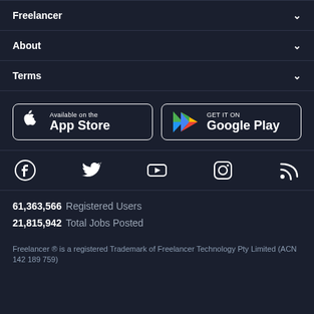Freelancer
About
Terms
[Figure (other): App Store and Google Play download buttons]
[Figure (other): Social media icons: Facebook, Twitter, YouTube, Instagram, RSS]
61,363,566 Registered Users
21,815,942 Total Jobs Posted
Freelancer ® is a registered Trademark of Freelancer Technology Pty Limited (ACN 142 189 759)